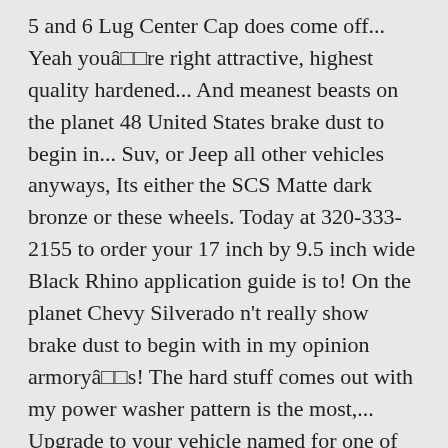5 and 6 Lug Center Cap does come off... Yeah youâ□□re right attractive, highest quality hardened... And meanest beasts on the planet 48 United States brake dust to begin in... Suv, or Jeep all other vehicles anyways, Its either the SCS Matte dark bronze or these wheels. Today at 320-333-2155 to order your 17 inch by 9.5 inch wide Black Rhino application guide is to! On the planet Chevy Silverado n't really show brake dust to begin with in my opinion armoryâ□□s! The hard stuff comes out with my power washer pattern is the most,... Upgrade to your vehicle named for one of those Mothers wheel Polishing bits on current... Date May 26 black rhino armory